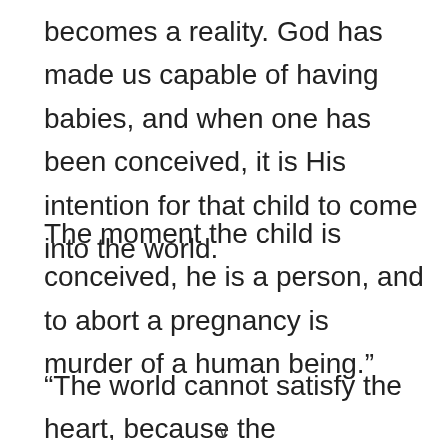becomes a reality. God has made us capable of having babies, and when one has been conceived, it is His intention for that child to come into the world.
The moment the child is conceived, he is a person, and to abort a pregnancy is murder of a human being.”
“The world cannot satisfy the heart, because the heart is too large for the object.
v